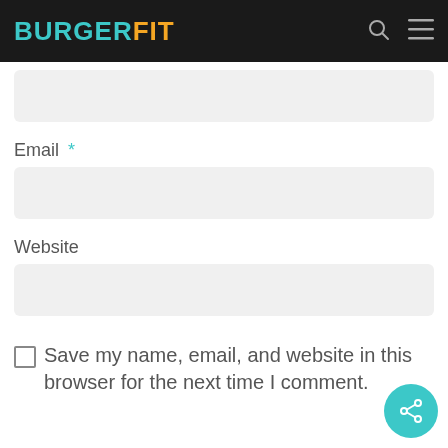BURGERFIT
Email *
Website
Save my name, email, and website in this browser for the next time I comment.